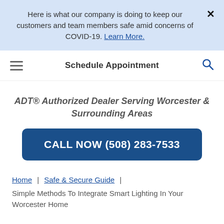Here is what our company is doing to keep our customers and team members safe amid concerns of COVID-19. Learn More.
Schedule Appointment
ADT® Authorized Dealer Serving Worcester & Surrounding Areas
CALL NOW (508) 283-7533
Home | Safe & Secure Guide |
Simple Methods To Integrate Smart Lighting In Your Worcester Home